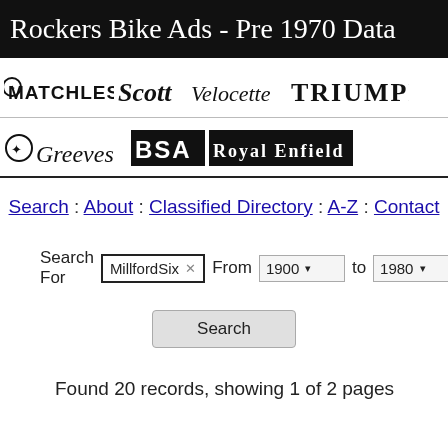Rockers Bike Ads - Pre 1970 Data
[Figure (illustration): Banner with motorcycle brand logos: Matchless, Scott, Velocette, Triumph, Greeves, BSA, Royal Enfield]
Search : About : Classified Directory : A-Z : Contact
Search For MillfordSix From 1900 to 1980
Search
Found 20 records, showing 1 of 2 pages